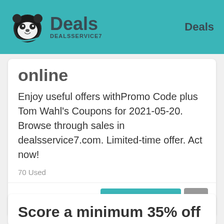Deals DEALSSERVICE7  Deals
online
Enjoy useful offers withPromo Code plus Tom Wahl's Coupons for 2021-05-20. Browse through sales in dealsservice7.com. Limited-time offer. Act now!
70 Used
40%Off
Get Deal
Score a minimum 35% off